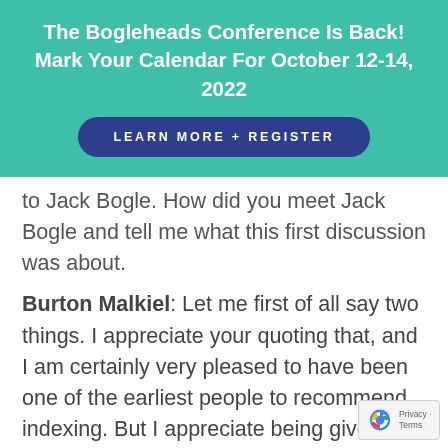The Bogleheads Conference Is Back! Mark Your Calendar For October 12-14, 2022
[Figure (other): Dark blue pill-shaped button with text LEARN MORE + REGISTER]
to Jack Bogle. How did you meet Jack Bogle and tell me what this first discussion was about.
Burton Malkiel: Let me first of all say two things. I appreciate your quoting that, and I am certainly very pleased to have been one of the earliest people to recommend indexing. But I appreciate being given the credit, but I do think it's one thing for an academic to say crazy things and believe